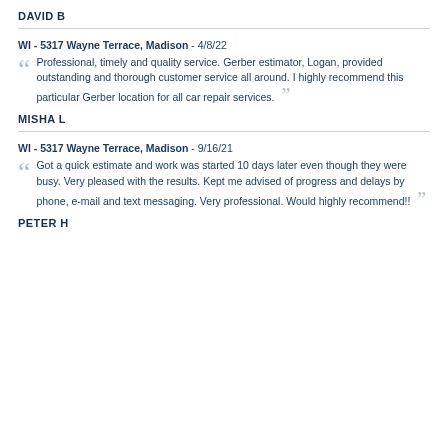DAVID B
WI - 5317 Wayne Terrace, Madison - 4/8/22
Professional, timely and quality service. Gerber estimator, Logan, provided outstanding and thorough customer service all around. I highly recommend this particular Gerber location for all car repair services.
MISHA L
WI - 5317 Wayne Terrace, Madison - 9/16/21
Got a quick estimate and work was started 10 days later even though they were busy. Very pleased with the results. Kept me advised of progress and delays by phone, e-mail and text messaging. Very professional. Would highly recommend!!
PETER H